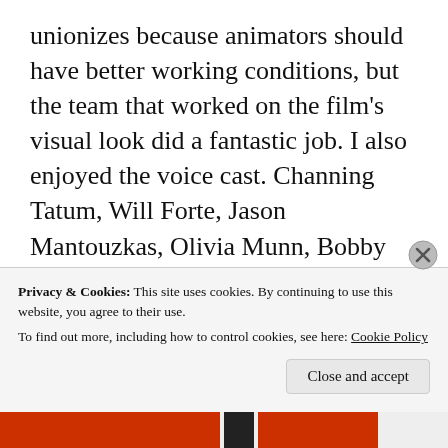unionizes because animators should have better working conditions, but the team that worked on the film's visual look did a fantastic job. I also enjoyed the voice cast. Channing Tatum, Will Forte, Jason Mantouzkas, Olivia Munn, Bobby Moynihan, Judy Greer, Raoul Trujillo, Killer Mike, Simon Pegg, and Andy Samberg put in some fantastic performances. It comes off like everyone had a ton of fun acting in this film since it's not a traditional project for these individuals. The music by
Privacy & Cookies: This site uses cookies. By continuing to use this website, you agree to their use.
To find out more, including how to control cookies, see here: Cookie Policy
Close and accept